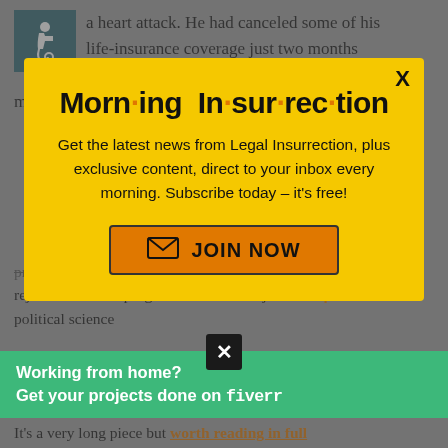a heart attack. He had canceled some of his life-insurance coverage just two months earlier. Money had been tight, and Kelly's mother had to worry about the mortgage and
[Figure (infographic): Yellow modal popup for Morning Insurrection newsletter subscription. Contains title 'Morn·ing In·sur·rec·tion', subtitle text about getting news from Legal Insurrection, and an orange JOIN NOW button. Includes a close X button in the top right.]
program; she was accepted to the school rejected from the program so she majored in political science
Working from home? Get your projects done on fiverr
It's a very long piece but worth reading in full